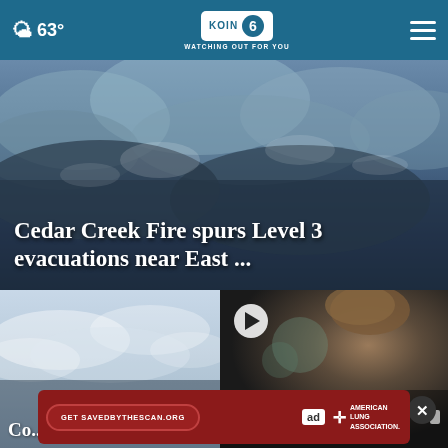63° KOIN 6 CBS WATCHING OUT FOR YOU
[Figure (photo): Large aerial or ground-level photo of dramatic smoke and fire clouds from the Cedar Creek Fire, dark smoky sky]
Cedar Creek Fire spurs Level 3 evacuations near East ...
[Figure (photo): Overcast sky, light grey clouds, news thumbnail for storm/weather story]
[Figure (photo): Video thumbnail of a person with curly hair, play button overlay, close button, related to a news story]
Co...
'He's watching...
[Figure (other): Advertisement banner for savedbythescan.org, American Lung Association, Ad Council]